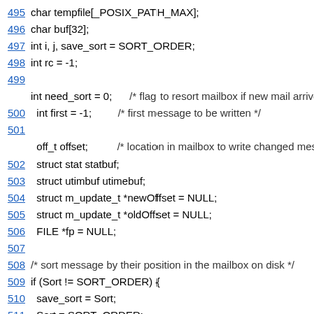[Figure (screenshot): Source code listing showing lines 495-517 of a C program with line numbers as blue underlined links on the left, variable declarations and code logic including mailbox sorting routines.]